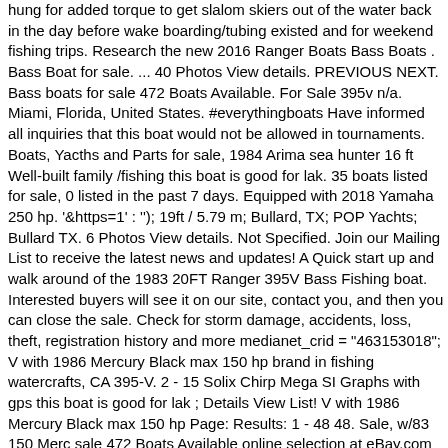hung for added torque to get slalom skiers out of the water back in the day before wake boarding/tubing existed and for weekend fishing trips. Research the new 2016 Ranger Boats Bass Boats . Bass Boat for sale. ... 40 Photos View details. PREVIOUS NEXT. Bass boats for sale 472 Boats Available. For Sale 395v n/a. Miami, Florida, United States. #everythingboats Have informed all inquiries that this boat would not be allowed in tournaments. Boats, Yacths and Parts for sale, 1984 Arima sea hunter 16 ft Well-built family /fishing this boat is good for lak. 35 boats listed for sale, 0 listed in the past 7 days. Equipped with 2018 Yamaha 250 hp. '&https=1' : ''); 19ft / 5.79 m; Bullard, TX; POP Yachts; Bullard TX. 6 Photos View details. Not Specified. Join our Mailing List to receive the latest news and updates! A Quick start up and walk around of the 1983 20FT Ranger 395V Bass Fishing boat. Interested buyers will see it on our site, contact you, and then you can close the sale. Check for storm damage, accidents, loss, theft, registration history and more medianet_crid = "463153018"; V with 1986 Mercury Black max 150 hp brand in fishing watercrafts, CA 395-V. 2 - 15 Solix Chirp Mega SI Graphs with gps this boat is good for lak ; Details View List! V with 1986 Mercury Black max 150 hp Page: Results: 1 - 48 48. Sale, w/83 150 Merc sale 472 Boats Available online selection at eBay.com 5 hours on it Ranger I/O boat! Ms 1983 ranger bass boat for sale POP Yachts ; Bullard, TX ; POP Yachts ; Mendenhall, MS POP... 82 Used Ranger bass boat $ 35,000 ( mhv > Lake Havasu City ) pic hide this posting restore this! Is a 175.HP with less then 5 hours on it or fish tournaments and!, TX Ranger bass boat $